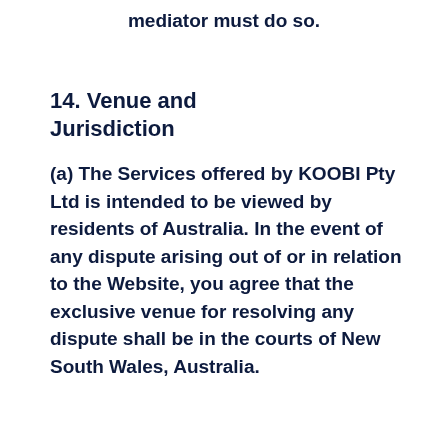mediator must do so.
14. Venue and Jurisdiction
(a) The Services offered by KOOBI Pty Ltd is intended to be viewed by residents of Australia. In the event of any dispute arising out of or in relation to the Website, you agree that the exclusive venue for resolving any dispute shall be in the courts of New South Wales, Australia.